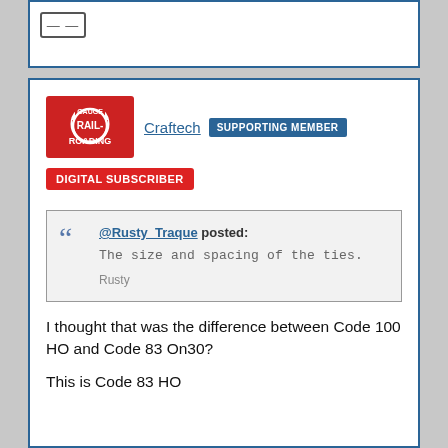[Figure (logo): O Gauge Rail-Roading magazine logo with red background and white text]
Craftech  SUPPORTING MEMBER
DIGITAL SUBSCRIBER
@Rusty_Traque posted:
The size and spacing of the ties.

Rusty
I thought that was the difference between Code 100 HO and Code 83 On30?
This is Code 83 HO